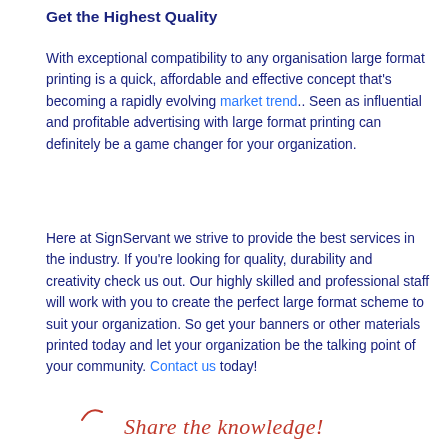Get the Highest Quality
With exceptional compatibility to any organisation large format printing is a quick, affordable and effective concept that's becoming a rapidly evolving market trend.. Seen as influential and profitable advertising with large format printing can definitely be a game changer for your organization.
Here at SignServant we strive to provide the best services in the industry. If you're looking for quality, durability and creativity check us out. Our highly skilled and professional staff will work with you to create the perfect large format scheme to suit your organization. So get your banners or other materials printed today and let your organization be the talking point of your community. Contact us today!
Share the knowledge!